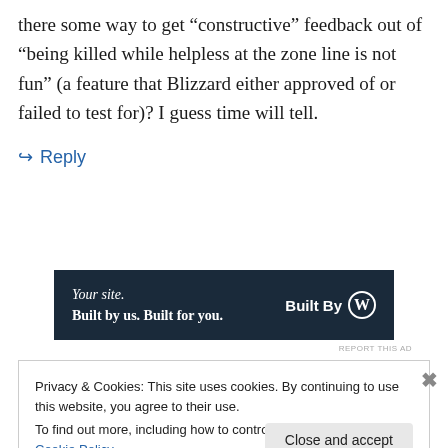there some way to get “constructive” feedback out of “being killed while helpless at the zone line is not fun” (a feature that Blizzard either approved of or failed to test for)? I guess time will tell.
↪ Reply
[Figure (infographic): Dark navy advertisement banner: 'Your site. Built by us. Built for you.' with 'Built By' and WordPress logo on the right.]
REPORT THIS AD
Privacy & Cookies: This site uses cookies. By continuing to use this website, you agree to their use.
To find out more, including how to control cookies, see here: Cookie Policy
Close and accept